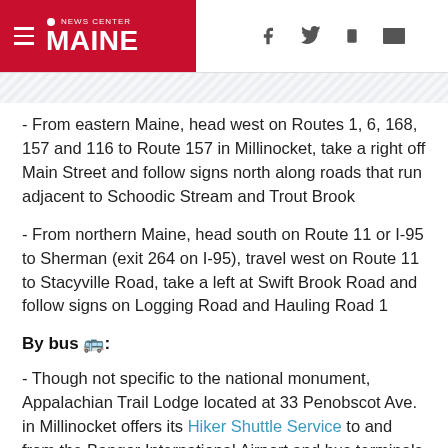NEWS CENTER MAINE
- From eastern Maine, head west on Routes 1, 6, 168, 157 and 116 to Route 157 in Millinocket, take a right off Main Street and follow signs north along roads that run adjacent to Schoodic Stream and Trout Brook
- From northern Maine, head south on Route 11 or I-95 to Sherman (exit 264 on I-95), travel west on Route 11 to Stacyville Road, take a left at Swift Brook Road and follow signs on Logging Road and Hauling Road 1
By bus 🚌:
- Though not specific to the national monument, Appalachian Trail Lodge located at 33 Penobscot Ave. in Millinocket offers its Hiker Shuttle Service to and from the Bangor International Airport and bus terminals in Bangor